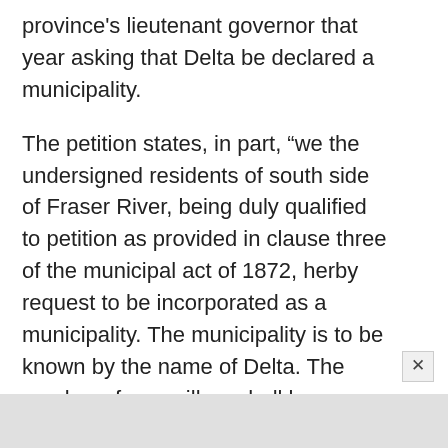province's lieutenant governor that year asking that Delta be declared a municipality.
The petition states, in part, “we the undersigned residents of south side of Fraser River, being duly qualified to petition as provided in clause three of the municipal act of 1872, herby request to be incorporated as a municipality. The municipality is to be known by the name of Delta. The number of councillors shall be seven.”
On Nov. 10 that year, the British Columbia Gazette published the deed of incorporation for the Corporation of Delta.
William Ladner was chosen as the first reeve, (known a